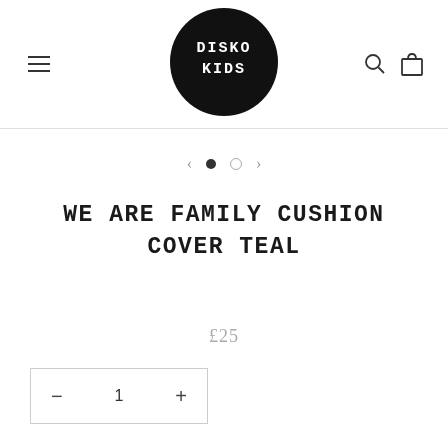[Figure (logo): Disko Kids logo: black circle with white text 'DISKO KIDS' in distressed font]
WE ARE FAMILY CUSHION COVER TEAL
£25
− 1 +